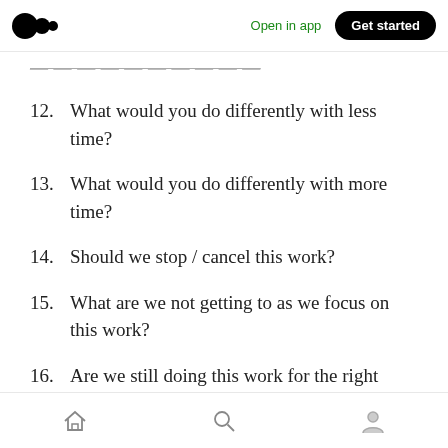Open in app | Get started
...............
12. What would you do differently with less time?
13. What would you do differently with more time?
14. Should we stop / cancel this work?
15. What are we not getting to as we focus on this work?
16. Are we still doing this work for the right reasons?
Home | Search | Profile